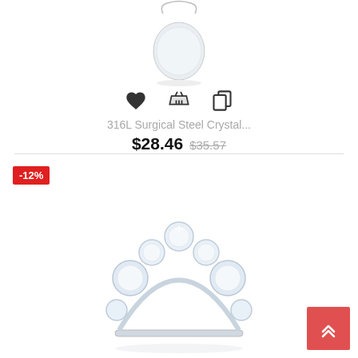[Figure (photo): Silver heart-shaped pendant necklace on white background]
[Figure (infographic): Three icons: heart (wishlist), basket (add to cart), copy (duplicate)]
316L Surgical Steel Crystal...
$28.46 $35.57
-12%
[Figure (photo): Silver crystal semicircle/crown piercing jewelry with gemstones on white background]